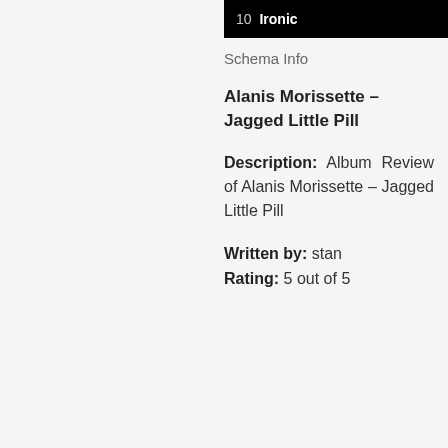10  Ironic
Schema Info
Alanis Morissette – Jagged Little Pill
Description: Album Review of Alanis Morissette – Jagged Little Pill
Written by: stan
Rating: 5 out of 5